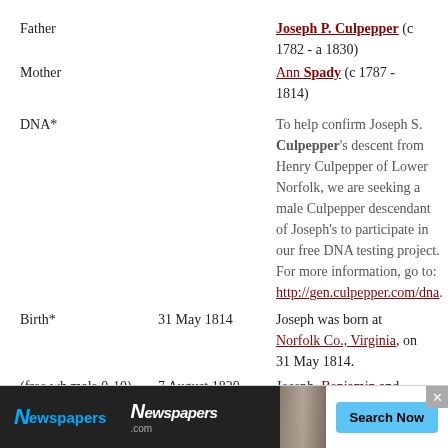Father   Joseph P. Culpepper (c 1782 - a 1830)
Mother   Ann Spady (c 1787 - 1814)
DNA*   To help confirm Joseph S. Culpepper's descent from Henry Culpepper of Lower Norfolk, we are seeking a male Culpepper descendant of Joseph's to participate in our free DNA testing project. For more information, go to: http://gen.culpepper.com/dna.
Birth*   31 May 1814   Joseph was born at Norfolk Co., Virginia, on 31 May 1814.
(free wh male 0-10) 1820 Census   7 August 1820   Joseph, Benjamin and John was probably a free white male, age under 10, in Joseph P. Culpepper's household, on the 1820 Census at Norfolk Co., Virginia.2
(free wh... 20) 1830   ...free ...d under
[Figure (screenshot): Newspapers.com advertisement banner with logo, background image, and Search Now button]